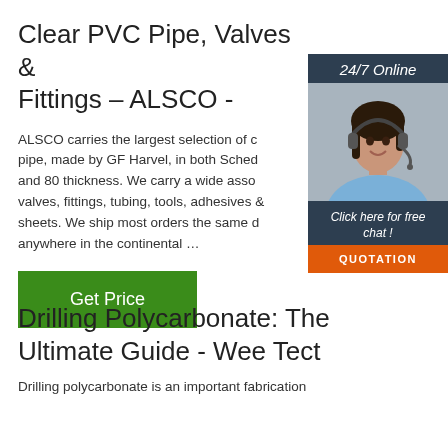Clear PVC Pipe, Valves & Fittings – ALSCO -
ALSCO carries the largest selection of clear pipe, made by GF Harvel, in both Schedule 40 and 80 thickness. We carry a wide assortment of valves, fittings, tubing, tools, adhesives and sheets. We ship most orders the same day anywhere in the continental …
[Figure (infographic): 24/7 Online chat widget with a woman wearing a headset, dark background, orange QUOTATION button and italic 'Click here for free chat!' text]
Drilling Polycarbonate: The Ultimate Guide - Wee Tect
Drilling polycarbonate is an important fabrication